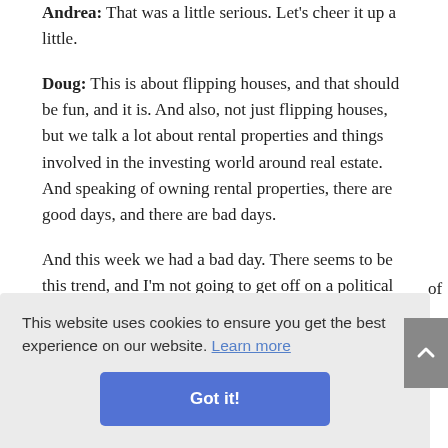Andrea: That was a little serious. Let's cheer it up a little.
Doug: This is about flipping houses, and that should be fun, and it is. And also, not just flipping houses, but we talk a lot about rental properties and things involved in the investing world around real estate. And speaking of owning rental properties, there are good days, and there are bad days.
And this week we had a bad day. There seems to be this trend, and I'm not going to get off on a political rant here, but there's this trend amongst cities in Southern California at least where, let's face it, a lot of
target. So what cities are doing these days is they're
This website uses cookies to ensure you get the best experience on our website. Learn more
Got it!